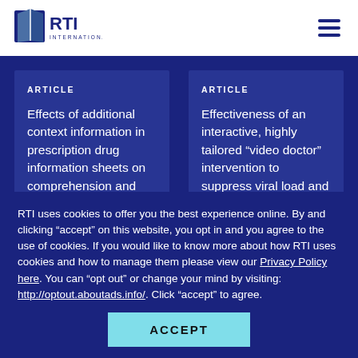RTI International
ARTICLE
Effects of additional context information in prescription drug information sheets on comprehension and risk and efficacy perceptions
ARTICLE
Effectiveness of an interactive, highly tailored “video doctor” intervention to suppress viral load and retain patients with HIV in clinical care
RTI uses cookies to offer you the best experience online. By and clicking “accept” on this website, you opt in and you agree to the use of cookies. If you would like to know more about how RTI uses cookies and how to manage them please view our Privacy Policy here. You can “opt out” or change your mind by visiting: http://optout.aboutads.info/. Click “accept” to agree.
ACCEPT